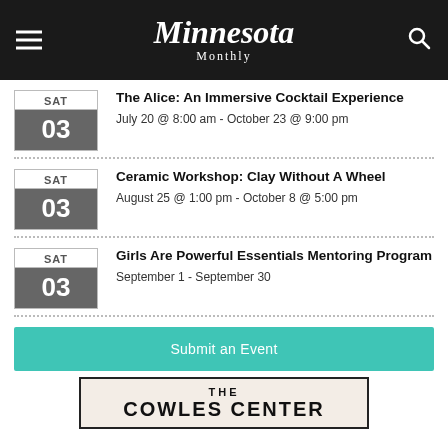Minnesota Monthly
SAT 03 | The Alice: An Immersive Cocktail Experience | July 20 @ 8:00 am - October 23 @ 9:00 pm
SAT 03 | Ceramic Workshop: Clay Without A Wheel | August 25 @ 1:00 pm - October 8 @ 5:00 pm
SAT 03 | Girls Are Powerful Essentials Mentoring Program | September 1 - September 30
Submit an Event
[Figure (photo): Partial image of The Cowles Center promotional material]